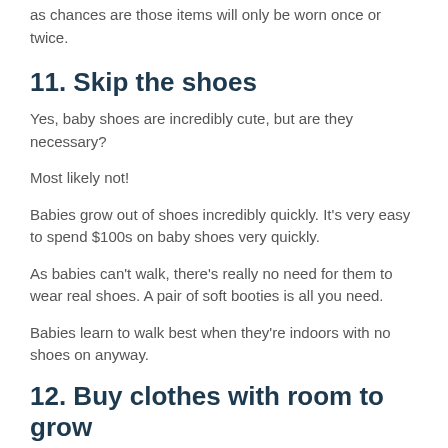as chances are those items will only be worn once or twice.
11. Skip the shoes
Yes, baby shoes are incredibly cute, but are they necessary?
Most likely not!
Babies grow out of shoes incredibly quickly. It's very easy to spend $100s on baby shoes very quickly.
As babies can't walk, there's really no need for them to wear real shoes. A pair of soft booties is all you need.
Babies learn to walk best when they're indoors with no shoes on anyway.
12. Buy clothes with room to grow